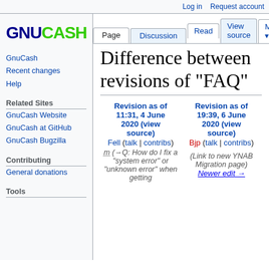Log in  Request account
[Figure (logo): GnuCash logo with dark blue GNU and green CASH text]
GnuCash
Recent changes
Help
Related Sites
GnuCash Website
GnuCash at GitHub
GnuCash Bugzilla
Contributing
General donations
Tools
Difference between revisions of "FAQ"
| Revision as of 11:31, 4 June 2020 (view source) | Revision as of 19:39, 6 June 2020 (view source) |
| --- | --- |
| Fell (talk | contribs) | Bjp (talk | contribs) |
| m (→Q: How do I fix a "system error" or "unknown error" when getting | (Link to new YNAB Migration page)
Newer edit → |